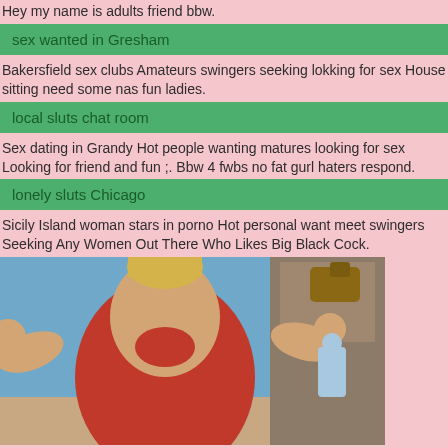Hey my name is adults friend bbw.
sex wanted in Gresham
Bakersfield sex clubs Amateurs swingers seeking lokking for sex House sitting need some nas fun ladies.
local sluts chat room
Sex dating in Grandy Hot people wanting matures looking for sex Looking for friend and fun ;. Bbw 4 fwbs no fat gurl haters respond.
lonely sluts Chicago
Sicily Island woman stars in porno Hot personal want meet swingers Seeking Any Women Out There Who Likes Big Black Cock.
[Figure (photo): Woman in red swimsuit flexing both arms, posing indoors]